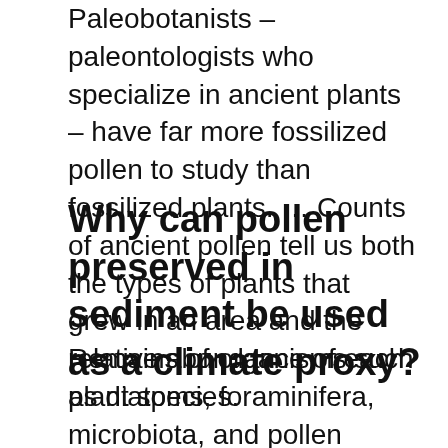Paleobotanists – paleontologists who specialize in ancient plants – have far more fossilized pollen to study than fossilized plants. … Counts of ancient pollen tell us both the types of plants that grew in an area and the relative abundance of each plant species.
Why can pollen preserved in sediment be used as a climate proxy?
Remains of organisms such as diatoms, foraminifera, microbiota, and pollen within sediment can indicate changes in past climate, since each species has a limited range of habitable conditions. When these organisms and pollen sink to the bottom of a